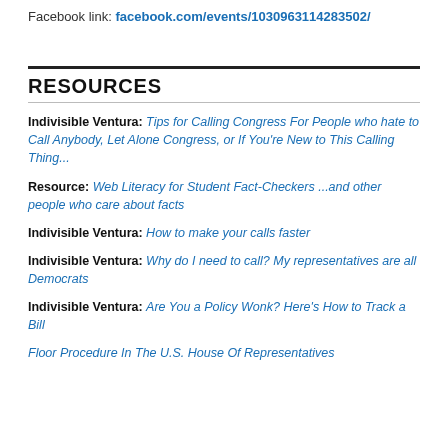Facebook link: facebook.com/events/1030963114283502/
RESOURCES
Indivisible Ventura: Tips for Calling Congress For People who hate to Call Anybody, Let Alone Congress, or If You're New to This Calling Thing...
Resource: Web Literacy for Student Fact-Checkers ...and other people who care about facts
Indivisible Ventura: How to make your calls faster
Indivisible Ventura: Why do I need to call? My representatives are all Democrats
Indivisible Ventura: Are You a Policy Wonk? Here's How to Track a Bill
Floor Procedure In The U.S. House Of Representatives